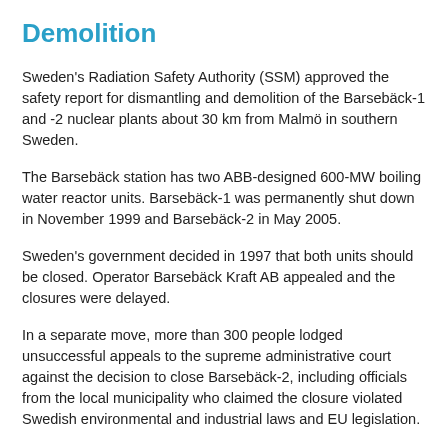Demolition
Sweden's Radiation Safety Authority (SSM) approved the safety report for dismantling and demolition of the Barsebäck-1 and -2 nuclear plants about 30 km from Malmö in southern Sweden.
The Barsebäck station has two ABB-designed 600-MW boiling water reactor units. Barsebäck-1 was permanently shut down in November 1999 and Barsebäck-2 in May 2005.
Sweden's government decided in 1997 that both units should be closed. Operator Barsebäck Kraft AB appealed and the closures were delayed.
In a separate move, more than 300 people lodged unsuccessful appeals to the supreme administrative court against the decision to close Barsebäck-2, including officials from the local municipality who claimed the closure violated Swedish environmental and industrial laws and EU legislation.